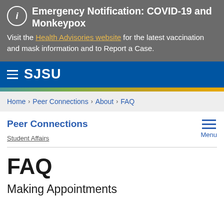Emergency Notification: COVID-19 and Monkeypox — Visit the Health Advisories website for the latest vaccination and mask information and to Report a Case.
[Figure (screenshot): SJSU navigation bar with hamburger menu icon and SJSU logo text in white on blue background, with gold/teal gradient stripe below]
Home › Peer Connections › About › FAQ
Peer Connections
Student Affairs
FAQ
Making Appointments